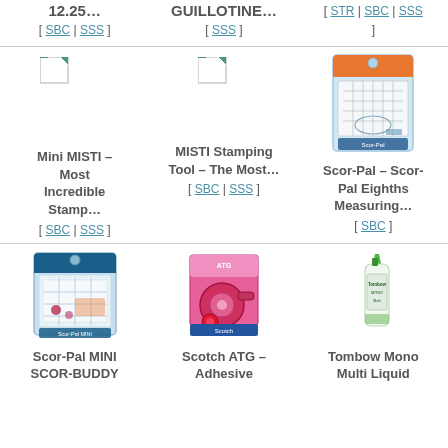12.25...
GUILLOTINE...
[ STR | SBC | SSS ]
[ SBC | SSS ]
[ SSS ]
[Figure (photo): Mini MISTI product placeholder image (broken image icon)]
Mini MISTI – Most Incredible Stamp...
[ SBC | SSS ]
[Figure (photo): MISTI Stamping Tool placeholder image (broken image icon)]
MISTI Stamping Tool – The Most...
[ SBC | SSS ]
[Figure (photo): Scor-Pal Eighths Measuring product image in packaging]
Scor-Pal – Scor-Pal Eighths Measuring...
[ SBC ]
[Figure (photo): Scor-Pal MINI SCOR-BUDDY product image in packaging]
Scor-Pal MINI SCOR-BUDDY
[Figure (photo): Scotch ATG Adhesive product image]
Scotch ATG – Adhesive
[Figure (photo): Tombow Mono Multi Liquid glue product image]
Tombow Mono Multi Liquid